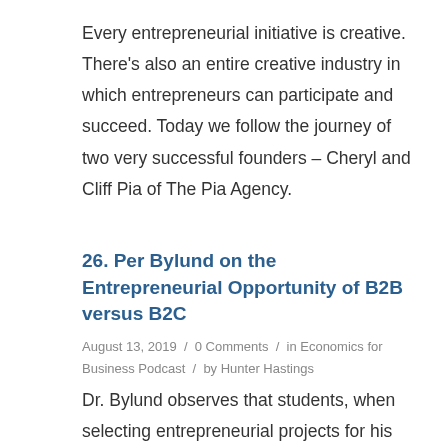Every entrepreneurial initiative is creative. There's also an entire creative industry in which entrepreneurs can participate and succeed. Today we follow the journey of two very successful founders – Cheryl and Cliff Pia of The Pia Agency.
26. Per Bylund on the Entrepreneurial Opportunity of B2B versus B2C
August 13, 2019 / 0 Comments / in Economics for Business Podcast / by Hunter Hastings
Dr. Bylund observes that students, when selecting entrepreneurial projects for his course, lean heavily towards consumer products and services